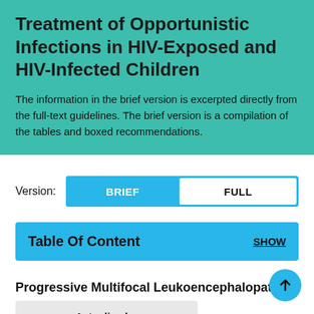Treatment of Opportunistic Infections in HIV-Exposed and HIV-Infected Children
The information in the brief version is excerpted directly from the full-text guidelines. The brief version is a compilation of the tables and boxed recommendations.
Version: BRIEF | FULL
Table Of Content   SHOW
Progressive Multifocal Leukoencephalopathy
Actualizado: